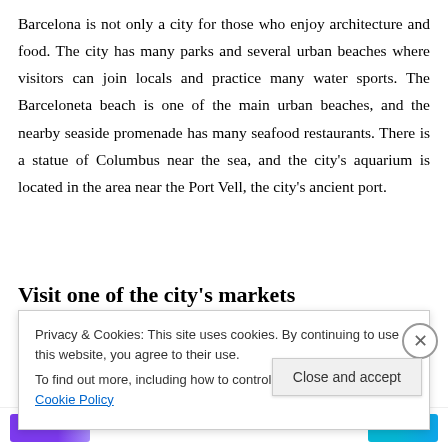Barcelona is not only a city for those who enjoy architecture and food. The city has many parks and several urban beaches where visitors can join locals and practice many water sports. The Barceloneta beach is one of the main urban beaches, and the nearby seaside promenade has many seafood restaurants. There is a statue of Columbus near the sea, and the city's aquarium is located in the area near the Port Vell, the city's ancient port.
Visit one of the city's markets
Privacy & Cookies: This site uses cookies. By continuing to use this website, you agree to their use.
To find out more, including how to control cookies, see here: Cookie Policy